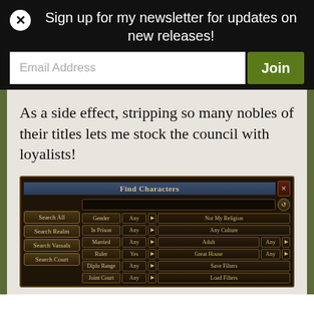Sign up for my newsletter for updates on new releases!
Email Address
Join
As a side effect, stripping so many nobles of their titles lets me stock the council with loyalists!
[Figure (screenshot): Screenshot of a Crusader Kings game UI showing 'Find Characters' dialog with search filters including Gender, In Prison, Married, Ruler, Diplo Range, Join Court, Not My Religion, Any Culture, Adult, Great House, Save Filters, Load Filters options.]